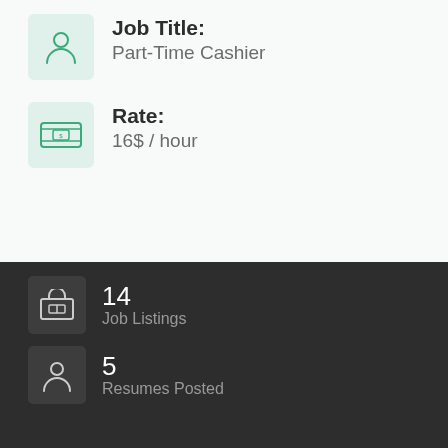Job Title:
Part-Time Cashier
Rate:
16$ / hour
14
Job Listings
5
Resumes Posted